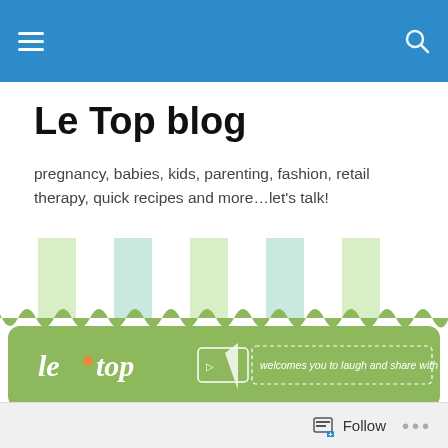Le Top blog (navigation bar with hamburger menu and search icon)
Le Top blog
pregnancy, babies, kids, parenting, fashion, retail therapy, quick recipes and more…let's talk!
[Figure (illustration): Le Top banner image with striped awning in green, blue, and white, and green banner reading 'le top welcomes you to laugh and share with us...']
TAGGED WITH BABY SHOWER MAIN COURSE
Le Top Chef Series: Arugula and Tomato Salsa